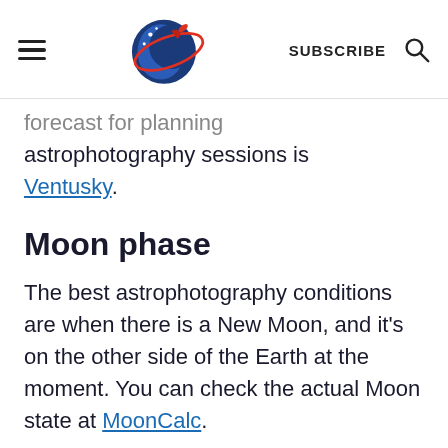SUBSCRIBE
forecast for planning astrophotography sessions is Ventusky.
Moon phase
The best astrophotography conditions are when there is a New Moon, and it's on the other side of the Earth at the moment. You can check the actual Moon state at MoonCalc.